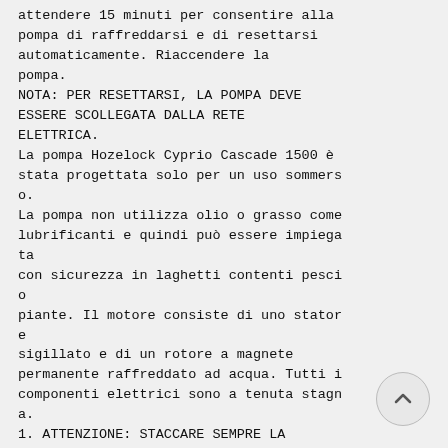attendere 15 minuti per consentire alla pompa di raffreddarsi e di resettarsi automaticamente. Riaccendere la pompa.
NOTA: PER RESETTARSI, LA POMPA DEVE ESSERE SCOLLEGATA DALLA RETE ELETTRICA.
La pompa Hozelock Cyprio Cascade 1500 è stata progettata solo per un uso sommers o.
La pompa non utilizza olio o grasso come lubrificanti e quindi può essere impiega ta con sicurezza in laghetti contenti pesci o piante. Il motore consiste di uno stator e sigillato e di un rotore a magnete permanente raffreddato ad acqua. Tutti i componenti elettrici sono a tenuta stagn a.
1. ATTENZIONE: STACCARE SEMPRE LA
6
Wasserbedingungen des Teiches ist möglichenweise eine häufigere Reinigung...